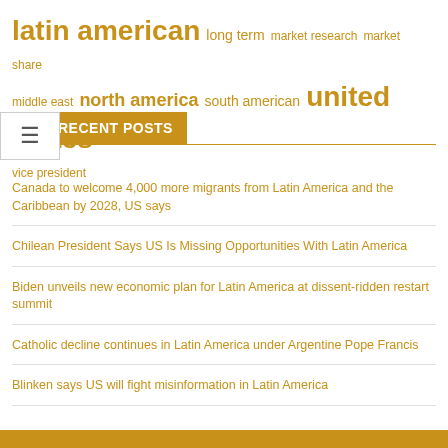latin american  long term  market research  market share  middle east  north america  south american  united states  vice president
RECENT POSTS
Canada to welcome 4,000 more migrants from Latin America and the Caribbean by 2028, US says
Chilean President Says US Is Missing Opportunities With Latin America
Biden unveils new economic plan for Latin America at dissent-ridden restart summit
Catholic decline continues in Latin America under Argentine Pope Francis
Blinken says US will fight misinformation in Latin America